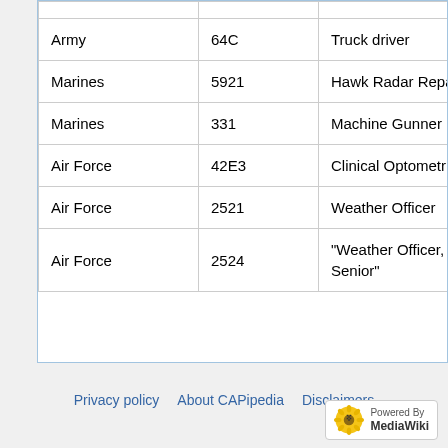| Branch | Code | Title |  |
| --- | --- | --- | --- |
| Army | 64C | Truck driver |  |
| Marines | 5921 | Hawk Radar Repairer |  |
| Marines | 331 | Machine Gunner |  |
| Air Force | 42E3 | Clinical Optometrist |  |
| Air Force | 2521 | Weather Officer |  |
| Air Force | 2524 | "Weather Officer, Senior" |  |
Privacy policy   About CAPipedia   Disclaimers